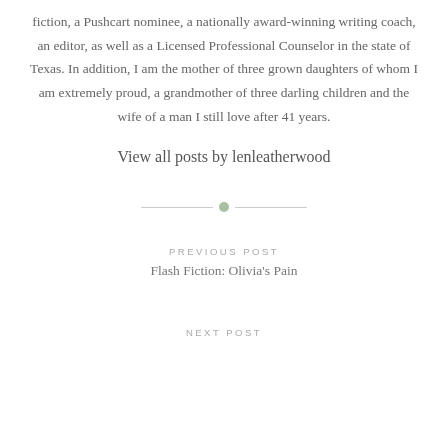fiction, a Pushcart nominee, a nationally award-winning writing coach, an editor, as well as a Licensed Professional Counselor in the state of Texas. In addition, I am the mother of three grown daughters of whom I am extremely proud, a grandmother of three darling children and the wife of a man I still love after 41 years.
View all posts by lenleatherwood
PREVIOUS POST
Flash Fiction: Olivia's Pain
NEXT POST